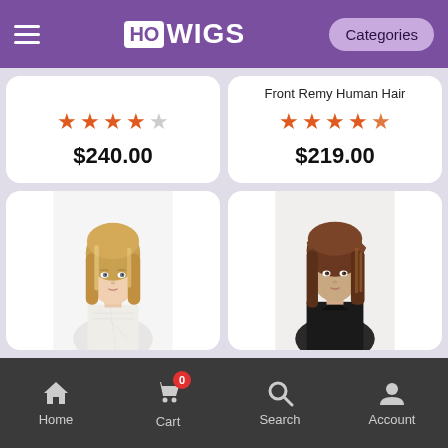HOWIGS — Categories
[Figure (screenshot): Top-left product card showing 3.5 star rating and price $240.00]
[Figure (screenshot): Top-right product card showing title 'Front Remy Human Hair', 4.5 star rating and price $219.00]
[Figure (photo): Bottom-left product card showing a woman with blonde shoulder-length wig]
[Figure (photo): Bottom-right product card showing a woman with auburn/brunette shoulder-length wig]
Home | Cart (0) | Search | Account